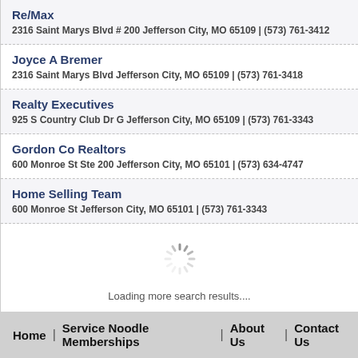Re/Max
2316 Saint Marys Blvd # 200 Jefferson City, MO 65109 | (573) 761-3412
Joyce A Bremer
2316 Saint Marys Blvd Jefferson City, MO 65109 | (573) 761-3418
Realty Executives
925 S Country Club Dr G Jefferson City, MO 65109 | (573) 761-3343
Gordon Co Realtors
600 Monroe St Ste 200 Jefferson City, MO 65101 | (573) 634-4747
Home Selling Team
600 Monroe St Jefferson City, MO 65101 | (573) 761-3343
Loading more search results....
Home | Service Noodle Memberships | About Us | Contact Us